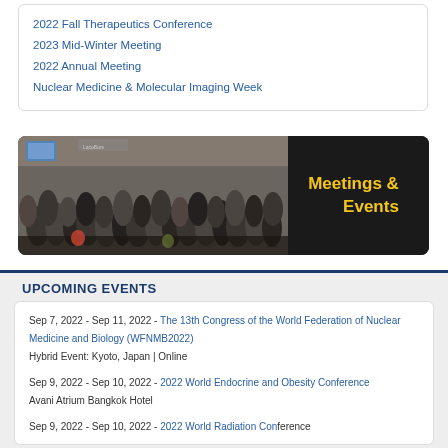2022 Fall Therapeutics Conference
2023 Mid-Winter Meeting
2022 Annual Meeting
Nuclear Medicine & Molecular Imaging Week
[Figure (photo): Banner image showing a crowded conference hall with many attendees in business attire, with text overlay reading 'Meetings & Events' in yellow on dark background]
UPCOMING EVENTS
Sep 7, 2022 - Sep 11, 2022 - The 13th Congress of the World Federation of Nuclear Medicine and Biology (WFNMB2022)
Hybrid Event: Kyoto, Japan | Online
Sep 9, 2022 - Sep 10, 2022 - 2022 World Endocrine and Obesity Conference
Avani Atrium Bangkok Hotel
Sep 9, 2022 - Sep 10, 2022 - 2022 World Radiation Conference